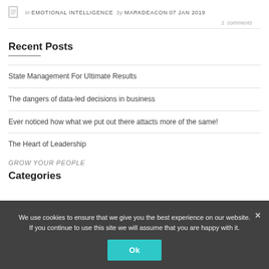in EMOTIONAL INTELLIGENCE by MARKDEACON 07 JAN 2019 | 1 comments
Recent Posts
State Management For Ultimate Results
The dangers of data-led decisions in business
Ever noticed how what we put out there attacts more of the same!
The Heart of Leadership
Grow Your People
Categories
We use cookies to ensure that we give you the best experience on our website. If you continue to use this site we will assume that you are happy with it.